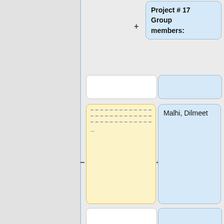Project # 17
Group members:
[Figure (flowchart): A diff/version-control style flowchart showing pairs of yellow (left) and blue (right) cards connected by plus and minus controls. Left column shows edits/content cards, right column shows names. Pairs visible: (dashed content card, Malhi Dilmeet), (Project #11 Group members card, Joshi Vansh), (Yang Jiwon, Syamala Aavinash), (Mahdi Anas, Islam Sohan). Top-right shows Project #17 Group members card.]